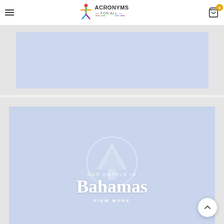Acronyms For All — navigation header with hamburger menu, logo, and cart icon with badge 0
[Figure (other): Top banner/advertisement placeholder block with light blue-grey background]
[Figure (other): Hotel destination card for Bahamas with light blue background, watermark tree/mountain icon, text 'OUR HOTELS IN', 'Bahamas', 'VIEW MORE']
OUR HOTELS IN
Bahamas
VIEW MORE